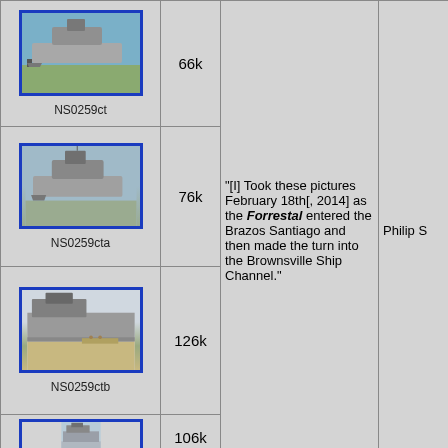[Figure (photo): Aircraft carrier photo NS0259ct, thumbnail with blue border, 66k file size]
NS0259ct
66k
[Figure (photo): Aircraft carrier photo NS0259cta, thumbnail with blue border, 76k file size]
NS0259cta
76k
[Figure (photo): Aircraft carrier photo NS0259ctb, thumbnail with blue border, 126k file size]
NS0259ctb
126k
"[I] Took these pictures February 18th[, 2014] as the Forrestal entered the Brazos Santiago and then made the turn into the Brownsville Ship Channel."
Philip S
[Figure (photo): Aircraft carrier photo thumbnail with blue border, 106k file size]
106k